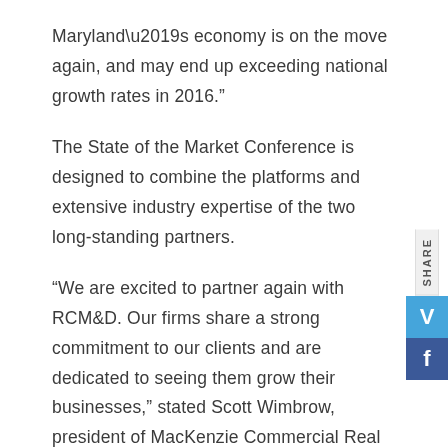Maryland’s economy is on the move again, and may end up exceeding national growth rates in 2016.”
The State of the Market Conference is designed to combine the platforms and extensive industry expertise of the two long-standing partners.
“We are excited to partner again with RCM&D. Our firms share a strong commitment to our clients and are dedicated to seeing them grow their businesses,” stated Scott Wimbrow, president of MacKenzie Commercial Real Estate Services, LLC. “This conference provides the opportunity to interact with our clients on a more personal level while providing them with timely information and resources for success.”
The conference is attended by many local organizations